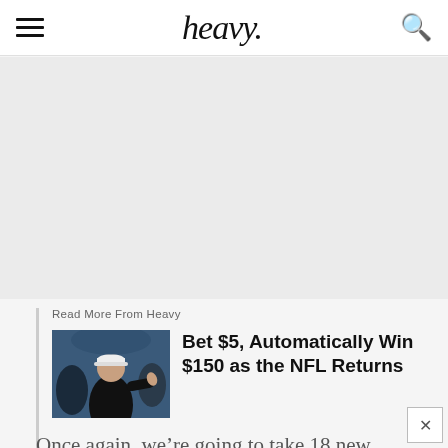heavy.
[Figure (other): Gray advertisement placeholder area]
Read More From Heavy
[Figure (photo): Photo of an NFL coach in black jacket and white cap giving a thumbs up gesture on a football field]
Bet $5, Automatically Win $150 as the NFL Returns
Once again, we’re going to take 18 new players – strangers – and abandon them. They have to form a society. And